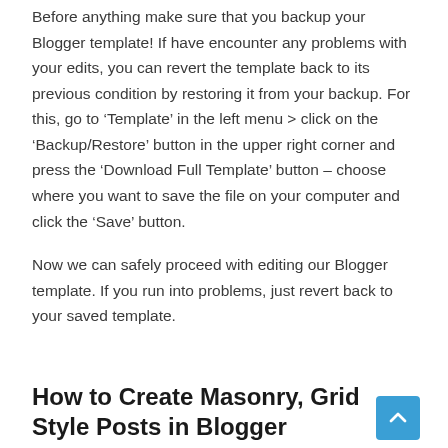Before anything make sure that you backup your Blogger template! If have encounter any problems with your edits, you can revert the template back to its previous condition by restoring it from your backup. For this, go to ‘Template’ in the left menu > click on the ‘Backup/Restore’ button in the upper right corner and press the ‘Download Full Template’ button – choose where you want to save the file on your computer and click the ‘Save’ button.
Now we can safely proceed with editing our Blogger template. If you run into problems, just revert back to your saved template.
How to Create Masonry, Grid Style Posts in Blogger